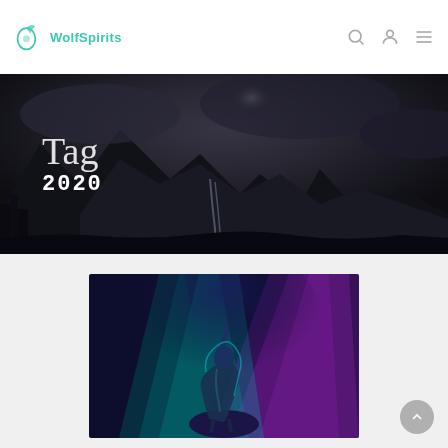WolfSpirits
[Figure (illustration): Dark moody mountain landscape with stormy sky, waterfalls, and forest — hero banner background]
Tag
2020
[Figure (illustration): Digital art of a glowing wolf howling on a rock, set against a background of purple and teal aurora light rays]